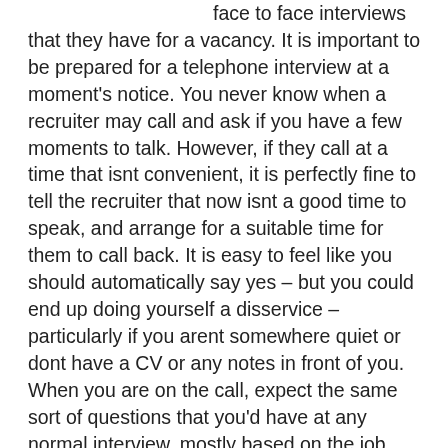face to face interviews that they have for a vacancy. It is important to be prepared for a telephone interview at a moment's notice. You never know when a recruiter may call and ask if you have a few moments to talk. However, if they call at a time that isnt convenient, it is perfectly fine to tell the recruiter that now isnt a good time to speak, and arrange for a suitable time for them to call back. It is easy to feel like you should automatically say yes – but you could end up doing yourself a disservice – particularly if you arent somewhere quiet or dont have a CV or any notes in front of you. When you are on the call, expect the same sort of questions that you'd have at any normal interview, mostly based on the job description and the reasons why it appeals to you. Top Tips Make sure that the telephone number that you put on your CV or application form is the right one. If you wont have credit on your mobile to listen to a voicemail, then consider putting a land line number down as well Do some background research on the company and the job beforehand Practise speaking on the phone to a friend or someone you know to make sure you are clear and sound